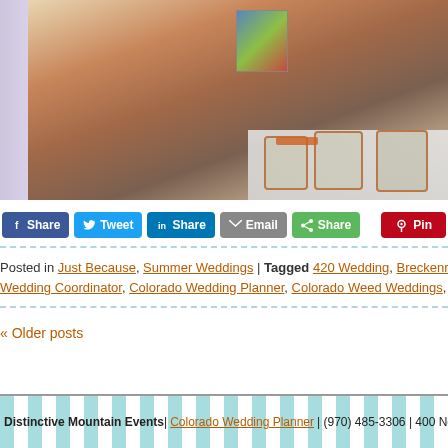[Figure (photo): Photo of two people at a wedding event with mason jars on a table; woman in patterned dress and man in colorful tie]
Share  Tweet  Share  Email  Share  Pin
Posted in Just Because, Summer Weddings | Tagged 420 Wedding, Breckenridge Wedding Coordinator, Colorado Wedding Planner, Colorado Weed Weddings, Mount…
« Older posts
Distinctive Mountain Events | Colorado Wedding Planner | (970) 485-3306 | 400 North Par…